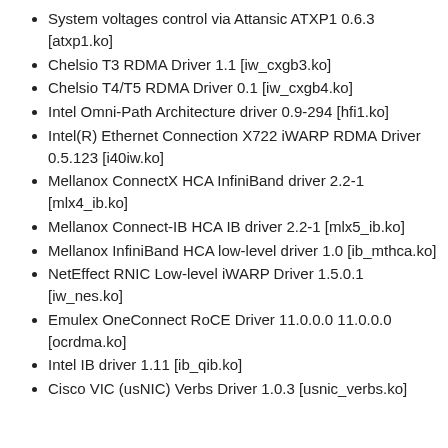System voltages control via Attansic ATXP1 0.6.3 [atxp1.ko]
Chelsio T3 RDMA Driver 1.1 [iw_cxgb3.ko]
Chelsio T4/T5 RDMA Driver 0.1 [iw_cxgb4.ko]
Intel Omni-Path Architecture driver 0.9-294 [hfi1.ko]
Intel(R) Ethernet Connection X722 iWARP RDMA Driver 0.5.123 [i40iw.ko]
Mellanox ConnectX HCA InfiniBand driver 2.2-1 [mlx4_ib.ko]
Mellanox Connect-IB HCA IB driver 2.2-1 [mlx5_ib.ko]
Mellanox InfiniBand HCA low-level driver 1.0 [ib_mthca.ko]
NetEffect RNIC Low-level iWARP Driver 1.5.0.1 [iw_nes.ko]
Emulex OneConnect RoCE Driver 11.0.0.0 11.0.0.0 [ocrdma.ko]
Intel IB driver 1.11 [ib_qib.ko]
Cisco VIC (usNIC) Verbs Driver 1.0.3 [usnic_verbs.ko]